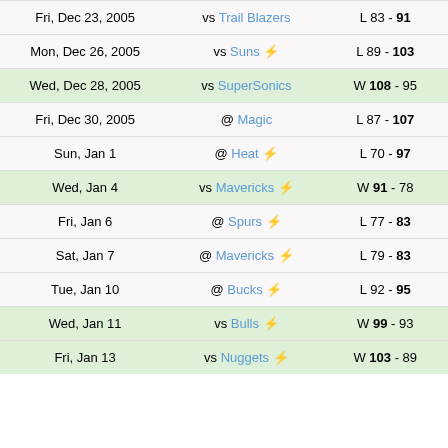| Date | Opponent | Result |
| --- | --- | --- |
| Fri, Dec 23, 2005 | vs Trail Blazers | L 83 - 91 |
| Mon, Dec 26, 2005 | vs Suns ⚡ | L 89 - 103 |
| Wed, Dec 28, 2005 | vs SuperSonics | W 108 - 95 |
| Fri, Dec 30, 2005 | @ Magic | L 87 - 107 |
| Sun, Jan 1 | @ Heat ⚡ | L 70 - 97 |
| Wed, Jan 4 | vs Mavericks ⚡ | W 91 - 78 |
| Fri, Jan 6 | @ Spurs ⚡ | L 77 - 83 |
| Sat, Jan 7 | @ Mavericks ⚡ | L 79 - 83 |
| Tue, Jan 10 | @ Bucks ⚡ | L 92 - 95 |
| Wed, Jan 11 | vs Bulls ⚡ | W 99 - 93 |
| Fri, Jan 13 | vs Nuggets ⚡ | W 103 - 89 |